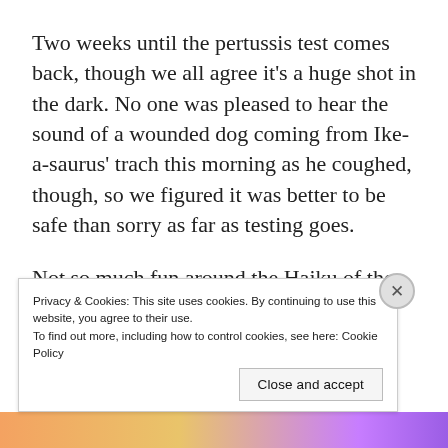Two weeks until the pertussis test comes back, though we all agree it's a huge shot in the dark. No one was pleased to hear the sound of a wounded dog coming from Ike-a-saurus' trach this morning as he coughed, though, so we figured it was better to be safe than sorry as far as testing goes.
Not so much fun around the Haiku of the Day household over the past few days.
Privacy & Cookies: This site uses cookies. By continuing to use this website, you agree to their use.
To find out more, including how to control cookies, see here: Cookie Policy